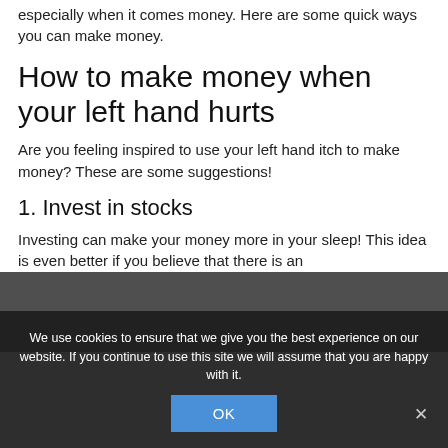especially when it comes money. Here are some quick ways you can make money.
How to make money when your left hand hurts
Are you feeling inspired to use your left hand itch to make money? These are some suggestions!
1. Invest in stocks
Investing can make your money more in your sleep! This idea is even better if you believe that there is an
We use cookies to ensure that we give you the best experience on our website. If you continue to use this site we will assume that you are happy with it.